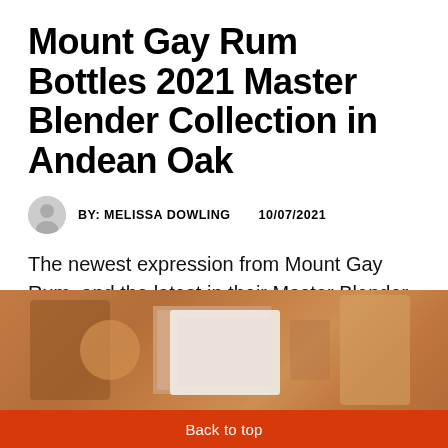Mount Gay Rum Bottles 2021 Master Blender Collection in Andean Oak
BY: MELISSA DOWLING   10/07/2021
The newest expression from Mount Gay Rum, and the latest in their Master Blender Collection, is Andean Oak Cask. For the 2021 small-batch release, Master Blender Trudiann ...
[Figure (photo): A photo of bottles and related items on a wooden surface, partially visible at bottom of page]
Back to top